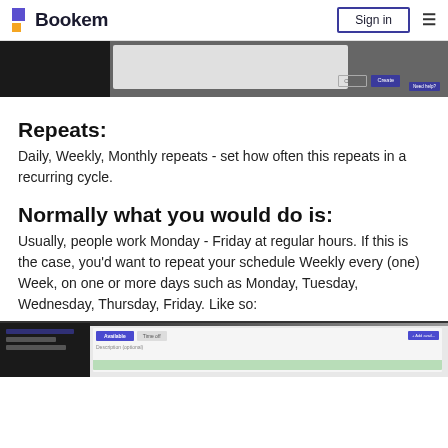Bookem | Sign in
[Figure (screenshot): Top screenshot showing a dialog with Cancel and Create buttons on a dark/grey background]
Repeats:
Daily, Weekly, Monthly repeats - set how often this repeats in a recurring cycle.
Normally what you would do is:
Usually, people work Monday - Friday at regular hours. If this is the case, you'd want to repeat your schedule Weekly every (one) Week, on one or more days such as Monday, Tuesday, Wednesday, Thursday, Friday. Like so:
[Figure (screenshot): Bottom screenshot showing Bookem app interface with Available / Time off tabs and Description (optional) field]